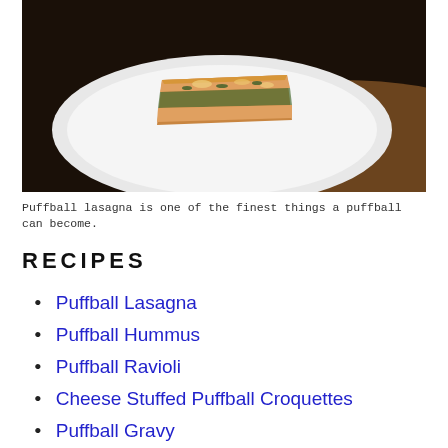[Figure (photo): A slice of puffball lasagna on a white plate, on a wooden surface, dark background.]
Puffball lasagna is one of the finest things a puffball can become.
RECIPES
Puffball Lasagna
Puffball Hummus
Puffball Ravioli
Cheese Stuffed Puffball Croquettes
Puffball Gravy
Caramelized Puffball Puree
Puffball Dumplings